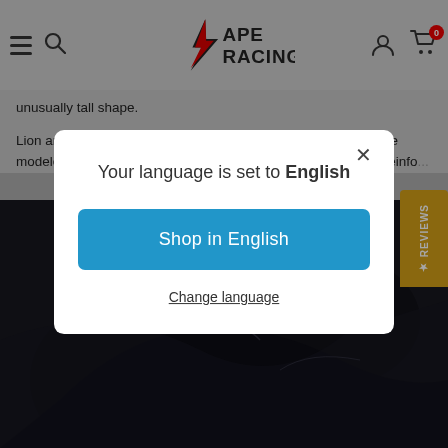APE RACING — navigation header with hamburger menu, search, logo, user icon, cart (0)
unusually tall shape.
Lion and Ben completely redesigned the subframe, though: "We modeled it in CA... tailpie... er reinfo...
[Figure (screenshot): Dark photo of motorcycle parts/carbon fiber components]
Your language is set to English
Shop in English
Change language